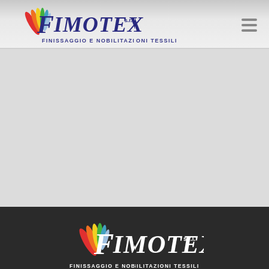[Figure (logo): Fimotex s.r.l. logo with colorful brush strokes and text 'FINISSAGGIO E NOBILITAZIONI TESSILI' — header version on light grey background]
[Figure (other): Large light grey empty content area]
[Figure (logo): Fimotex s.r.l. logo with colorful brush strokes and text 'FINISSAGGIO E NOBILITAZIONI TESSILI' — footer version on dark background]